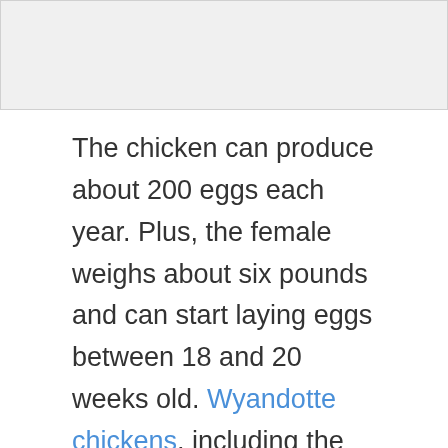[Figure (photo): Image placeholder at the top of the page]
The chicken can produce about 200 eggs each year. Plus, the female weighs about six pounds and can start laying eggs between 18 and 20 weeks old. Wyandotte chickens, including the Silver Laced Wyandottes and Blue Laced Red Wyandotte chickens are a dual purpose breed.
Barred Plymouth Rock
If you've got children at home, you